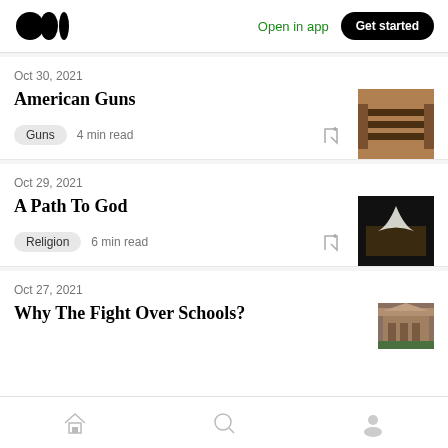Medium logo | Open in app | Get started
Oct 30, 2021
American Guns
Guns  4 min read
Oct 29, 2021
A Path To God
Religion  6 min read
Oct 27, 2021
Why The Fight Over Schools?
Home | Search | Profile